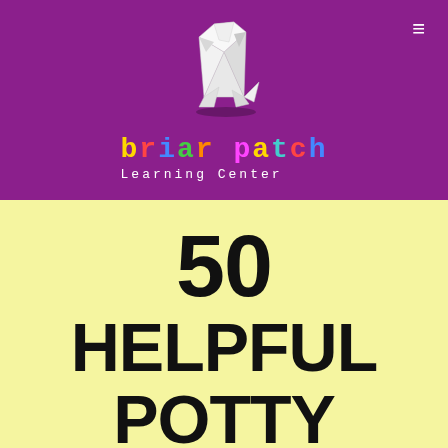[Figure (logo): Briar Patch Learning Center logo: origami-style white rabbit on purple background with colored text brand name and 'Learning Center' subtitle]
50 HELPFUL POTTY TRAINING TIPS